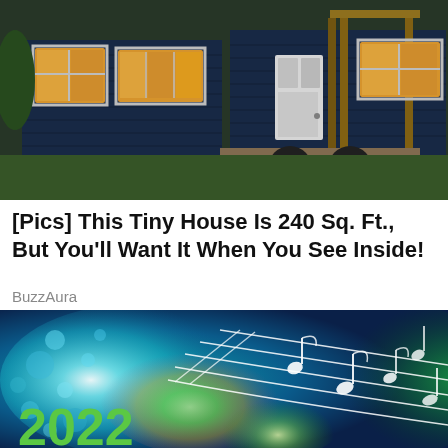[Figure (photo): Photo of a small blue tiny house on wheels with white-framed windows lit from inside, a white front door, wooden steps and deck, and a wooden pergola structure at night]
[Pics] This Tiny House Is 240 Sq. Ft., But You'll Want It When You See Inside!
BuzzAura
[Figure (illustration): Colorful illustration with watercolor-style blue, green, teal, yellow and purple splashes with white musical staff lines and music note symbols flowing across the image, and the year '2022' in green at the bottom left]